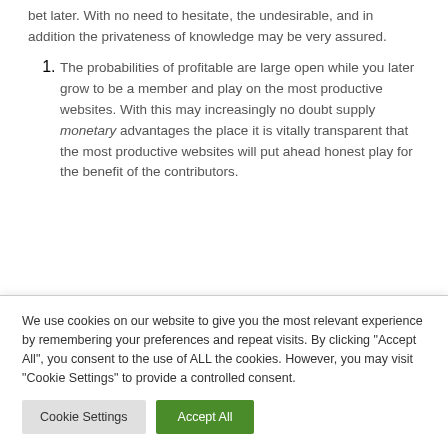bet later. With no need to hesitate, the undesirable, and in addition the privateness of knowledge may be very assured.
The probabilities of profitable are large open while you later grow to be a member and play on the most productive websites. With this may increasingly no doubt supply monetary advantages the place it is vitally transparent that the most productive websites will put ahead honest play for the benefit of the contributors.
We use cookies on our website to give you the most relevant experience by remembering your preferences and repeat visits. By clicking "Accept All", you consent to the use of ALL the cookies. However, you may visit "Cookie Settings" to provide a controlled consent.